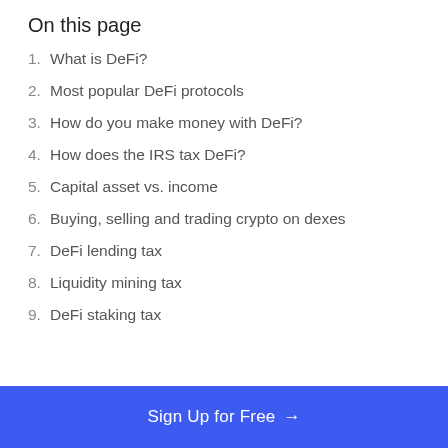On this page
1. What is DeFi?
2. Most popular DeFi protocols
3. How do you make money with DeFi?
4. How does the IRS tax DeFi?
5. Capital asset vs. income
6. Buying, selling and trading crypto on dexes
7. DeFi lending tax
8. Liquidity mining tax
9. DeFi staking tax
Sign Up for Free →